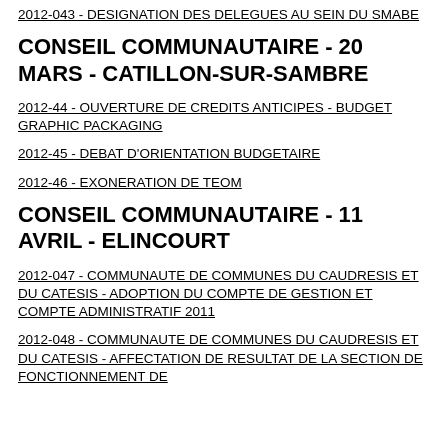2012-043 - DESIGNATION DES DELEGUES AU SEIN DU SMABE
CONSEIL COMMUNAUTAIRE - 20 MARS - CATILLON-SUR-SAMBRE
2012-44 - OUVERTURE DE CREDITS ANTICIPES - BUDGET GRAPHIC PACKAGING
2012-45 - DEBAT D'ORIENTATION BUDGETAIRE
2012-46 - EXONERATION DE TEOM
CONSEIL COMMUNAUTAIRE - 11 AVRIL - ELINCOURT
2012-047 - COMMUNAUTE DE COMMUNES DU CAUDRESIS ET DU CATESIS - ADOPTION DU COMPTE DE GESTION ET COMPTE ADMINISTRATIF 2011
2012-048 - COMMUNAUTE DE COMMUNES DU CAUDRESIS ET DU CATESIS - AFFECTATION DE RESULTAT DE LA SECTION DE FONCTIONNEMENT DE